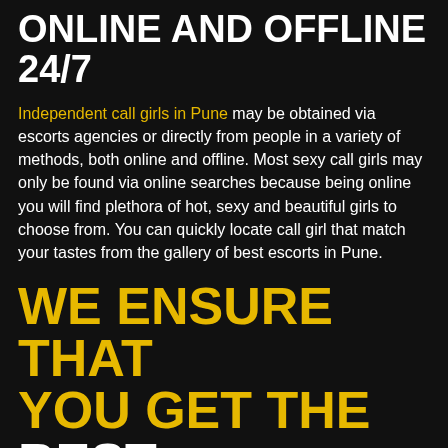ONLINE AND OFFLINE 24/7
Independent call girls in Pune may be obtained via escorts agencies or directly from people in a variety of methods, both online and offline. Most sexy call girls may only be found via online searches because being online you will find plethora of hot, sexy and beautiful girls to choose from. You can quickly locate call girl that match your tastes from the gallery of best escorts in Pune.
WE ENSURE THAT YOU GET THE BEST POSSIBLE SERVICES AFTER